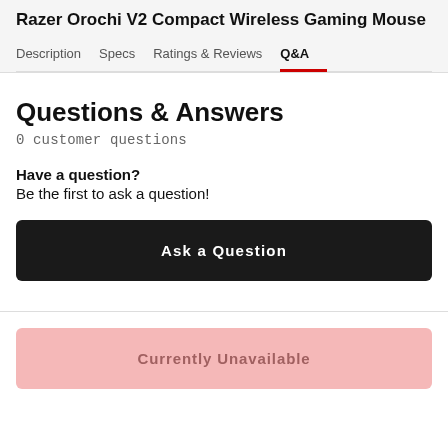Razer Orochi V2 Compact Wireless Gaming Mouse
Description  Specs  Ratings & Reviews  Q&A
Questions & Answers
0 customer questions
Have a question?
Be the first to ask a question!
Ask a Question
Currently Unavailable